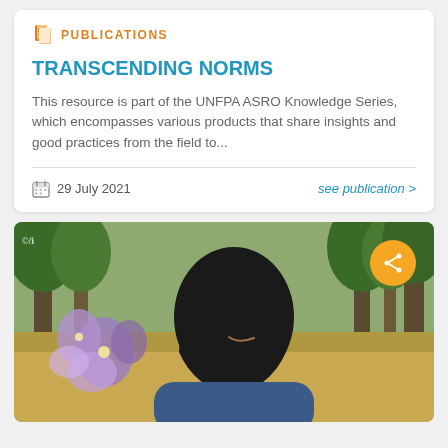PUBLICATIONS
TRANSCENDING NORMS
This resource is part of the UNFPA ASRO Knowledge Series, which encompasses various products that share insights and good practices from the field to...
29 July 2021
see publication >
[Figure (photo): Young woman wearing black hijab, smiling, photographed outdoors in a wooded/dry grass setting. Purple flower overlay on left side. Share button (orange circle with share icon) in top right corner. Small logo watermark in top left.]